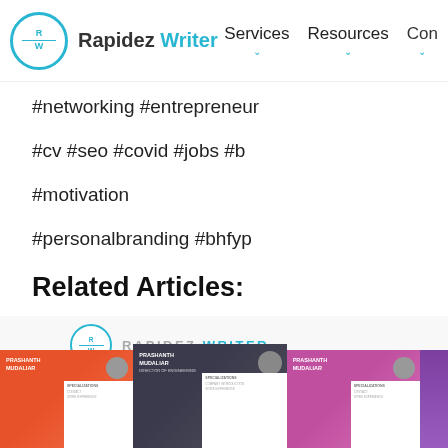Rapidez Writer — Services, Resources, Con...
#networking #entrepreneur
#cv #seo #covid #jobs #b
#motivation
#personalbranding #bhfyp
Related Articles:
[Figure (screenshot): Rapidez Writer logo and resume card thumbnails preview for a related article]